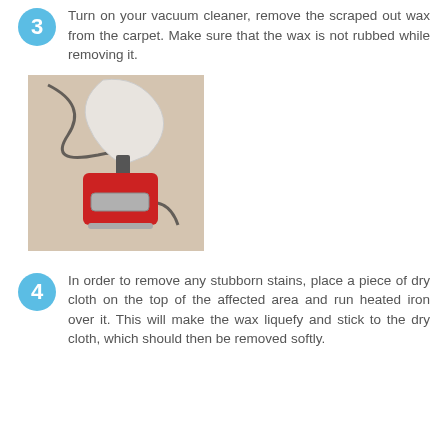Turn on your vacuum cleaner, remove the scraped out wax from the carpet. Make sure that the wax is not rubbed while removing it.
[Figure (photo): Photo of a red and silver vacuum cleaner head on a light beige carpet, with the vacuum cord visible in the background.]
In order to remove any stubborn stains, place a piece of dry cloth on the top of the affected area and run heated iron over it. This will make the wax liquefy and stick to the dry cloth, which should then be removed softly.